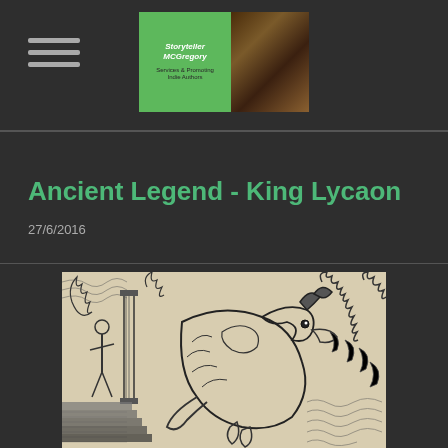[Figure (logo): Hamburger menu icon (three horizontal lines) on left, and a blog logo with green box reading 'Storyteller MCGregory / Services & Promoting Indie Authors' next to a photo of a notebook with coffee cup]
Ancient Legend - King Lycaon
27/6/2016
[Figure (illustration): Black and white woodcut illustration depicting a wolf-like creature (King Lycaon transformed into a wolf) amid flames, with a human figure visible on the left side]